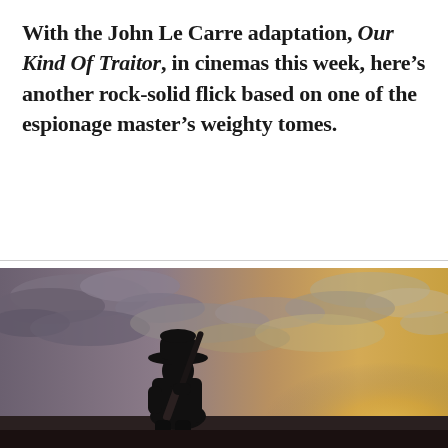With the John Le Carre adaptation, Our Kind Of Traitor, in cinemas this week, here's another rock-solid flick based on one of the espionage master's weighty tomes.
[Figure (photo): Silhouette of a man wearing a cowboy hat and carrying a rifle over his shoulder, photographed against a dramatic sunset sky with golden and grey clouds.]